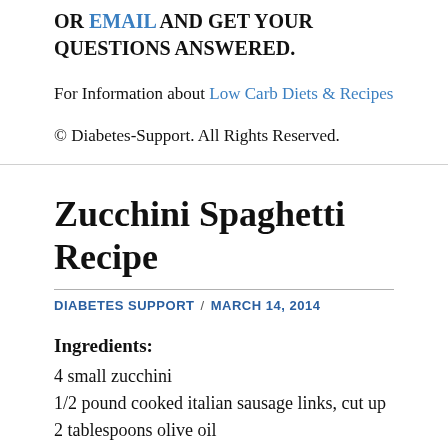OR EMAIL AND GET YOUR QUESTIONS ANSWERED.
For Information about Low Carb Diets & Recipes
© Diabetes-Support. All Rights Reserved.
Zucchini Spaghetti Recipe
DIABETES SUPPORT / MARCH 14, 2014
Ingredients:
4 small zucchini
1/2 pound cooked italian sausage links, cut up
2 tablespoons olive oil